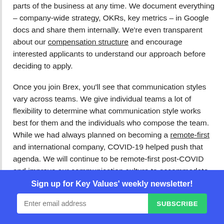parts of the business at any time. We document everything – company-wide strategy, OKRs, key metrics – in Google docs and share them internally. We're even transparent about our compensation structure and encourage interested applicants to understand our approach before deciding to apply.
Once you join Brex, you'll see that communication styles vary across teams. We give individual teams a lot of flexibility to determine what communication style works best for them and the individuals who compose the team. While we had always planned on becoming a remote-first and international company, COVID-19 helped push that agenda. We will continue to be remote-first post-COVID and improve our communication culture to accommodate our growing company.
[partial text cut off at bottom]
Sign up for Key Values' weekly newsletter!